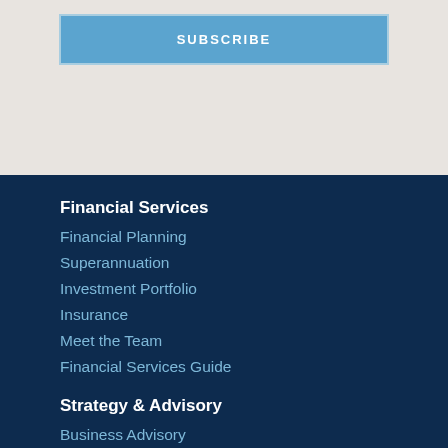[Figure (other): Subscribe button with light blue background on grey section]
Financial Services
Financial Planning
Superannuation
Investment Portfolio
Insurance
Meet the Team
Financial Services Guide
Strategy & Advisory
Business Advisory
Agribusiness
Cloud Accounting
Accounting & Tax